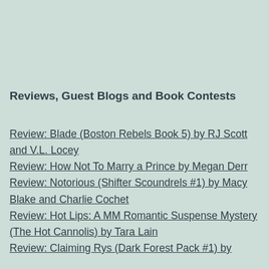Reviews, Guest Blogs and Book Contests
Review: Blade (Boston Rebels Book 5) by RJ Scott and V.L. Locey
Review: How Not To Marry a Prince by Megan Derr
Review: Notorious (Shifter Scoundrels #1) by Macy Blake and Charlie Cochet
Review: Hot Lips: A MM Romantic Suspense Mystery (The Hot Cannolis) by Tara Lain
Review: Claiming Rys (Dark Forest Pack #1) by